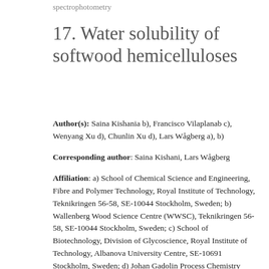spectrophotometry
17. Water solubility of softwood hemicelluloses
Author(s): Saina Kishania b), Francisco Vilaplanab c), Wenyang Xu d), Chunlin Xu d), Lars Wågberg a), b)
Corresponding author: Saina Kishani, Lars Wågberg
Affiliation: a) School of Chemical Science and Engineering, Fibre and Polymer Technology, Royal Institute of Technology, Teknikringen 56-58, SE-10044 Stockholm, Sweden; b) Wallenberg Wood Science Centre (WWSC), Teknikringen 56-58, SE-10044 Stockholm, Sweden; c) School of Biotechnology, Division of Glycoscience, Royal Institute of Technology, Albanova University Centre, SE-10691 Stockholm, Sweden; d) Johan Gadolin Process Chemistry Centre, Laboratory of